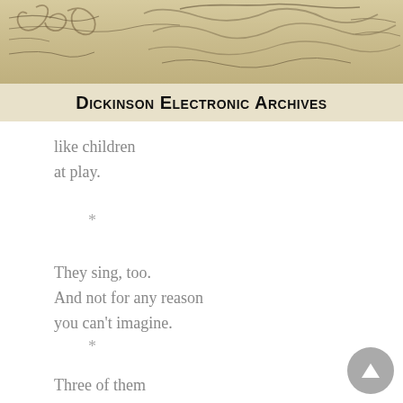[Figure (illustration): Dickinson Electronic Archives header banner with handwritten manuscript background and bold title text]
like children
at play.
*
They sing, too.
And not for any reason
you can't imagine.
*
Three of them